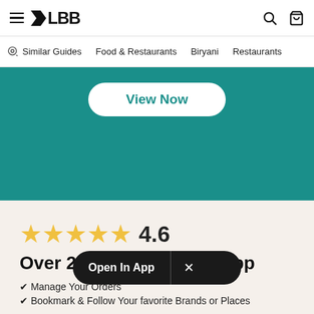LBB
[Figure (screenshot): LBB app website header with hamburger menu, LBB logo, search and bag icons]
Similar Guides   Food & Restaurants   Biryani   Restaurants
[Figure (screenshot): Teal/green promotional banner with a white 'View Now' pill button]
[Figure (infographic): Star rating display: 5 gold stars with rating 4.6]
Over 2 Million Use Our App
✔ Manage Your Orders
✔ Bookmark & Follow Your favorite Brands or Places
[Figure (screenshot): Open In App dark pill banner with close X button]